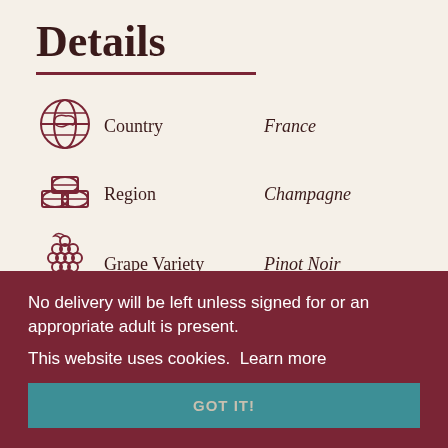Details
Country — France
Region — Champagne
Grape Variety — Pinot Noir
Colour — Sparkling
Taste — Crisp & Dry
Eco Credentials — Practicing
Eco Credentials value — Organic Sustainable
Vegan / Vegetarian — Vegan
No delivery will be left unless signed for or an appropriate adult is present.
This website uses cookies.  Learn more
GOT IT!